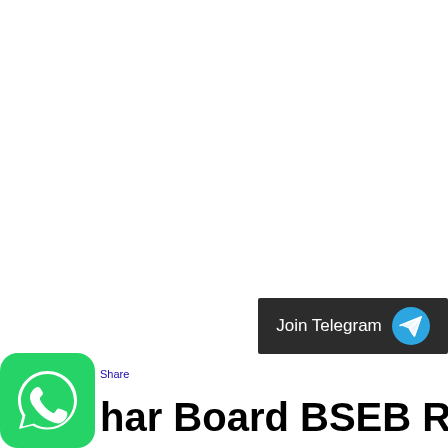[Figure (screenshot): Join Telegram button with dark background and Telegram logo (blue circle with white paper plane icon)]
[Figure (logo): WhatsApp logo in green rounded square with white phone handset icon]
Share
har Board BSEB Result 2021